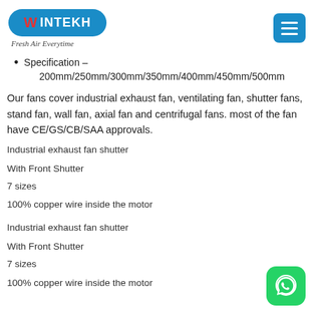[Figure (logo): Wintekh logo — oval blue badge with white text 'WINTEKH' and red W, with italic tagline 'Fresh Air Everytime' below]
Specification – 200mm/250mm/300mm/350mm/400mm/450mm/500mm
Our fans cover industrial exhaust fan, ventilating fan, shutter fans, stand fan, wall fan, axial fan and centrifugal fans. most of the fan have CE/GS/CB/SAA approvals.
Industrial exhaust fan shutter
With Front Shutter
7 sizes
100% copper wire inside the motor
Industrial exhaust fan shutter
With Front Shutter
7 sizes
100% copper wire inside the motor
[Figure (logo): WhatsApp icon — green rounded square with white phone/chat bubble logo]